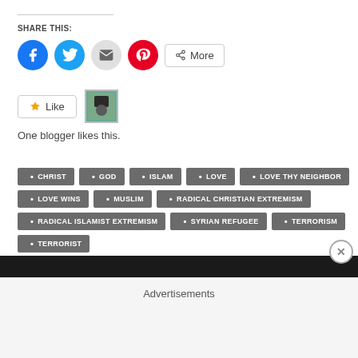SHARE THIS:
[Figure (infographic): Social share buttons: Facebook (blue circle), Twitter (blue circle), Email (grey circle), Pinterest (red circle), and a More button]
[Figure (infographic): Like button with star icon and a blogger avatar thumbnail]
One blogger likes this.
CHRIST
GOD
ISLAM
LOVE
LOVE THY NEIGHBOR
LOVE WINS
MUSLIM
RADICAL CHRISTIAN EXTREMISM
RADICAL ISLAMIST EXTREMISM
SYRIAN REFUGEE
TERRORISM
TERRORIST
Advertisements